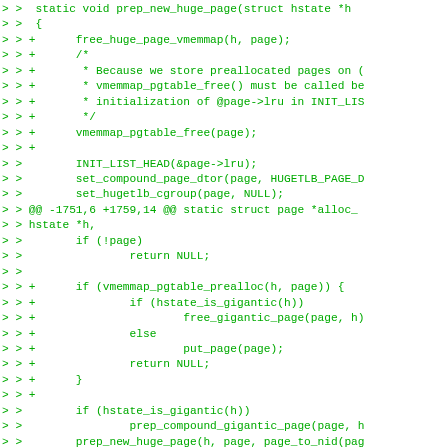> >  static void prep_new_huge_page(struct hstate *h
> >  {
> > +      free_huge_page_vmemmap(h, page);
> > +      /*
> > +       * Because we store preallocated pages on (
> > +       * vmemmap_pgtable_free() must be called be
> > +       * initialization of @page->lru in INIT_LIS
> > +       */
> > +      vmemmap_pgtable_free(page);
> > +
> >        INIT_LIST_HEAD(&page->lru);
> >        set_compound_page_dtor(page, HUGETLB_PAGE_D
> >        set_hugetlb_cgroup(page, NULL);
> > @@ -1751,6 +1759,14 @@ static struct page *alloc_
> > hstate *h,
> >        if (!page)
> >                return NULL;
> >
> > +      if (vmemmap_pgtable_prealloc(h, page)) {
> > +              if (hstate_is_gigantic(h))
> > +                      free_gigantic_page(page, h)
> > +              else
> > +                      put_page(page);
> > +              return NULL;
> > +      }
> > +
> >        if (hstate_is_gigantic(h))
> >                prep_compound_gigantic_page(page, h
> >        prep_new_huge_page(h, page, page_to_nid(pag
> > diff --git a/mm/hugetlb_vmemmap.c b/mm/hugetlb_vm
> > index 332c131c01a8..937562a15f1e 100644
> > --- a/mm/hugetlb_vmemmap.c